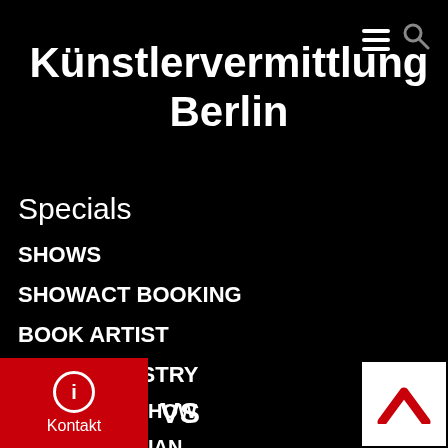Künstlervermittlung Berlin
Specials
SHOWS
SHOWACT BOOKING
BOOK ARTIST
BOOK ARTISTRY
BOOK FAIR SHOW
BOOK MUSICIAN
VS
Kontakt